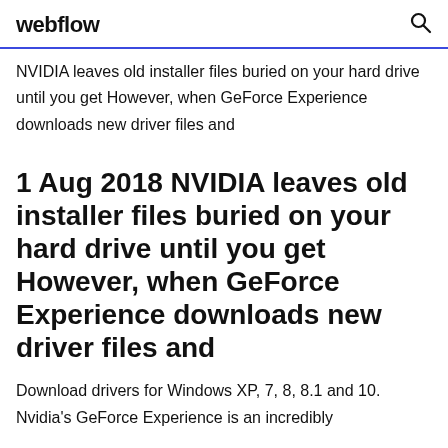webflow
NVIDIA leaves old installer files buried on your hard drive until you get However, when GeForce Experience downloads new driver files and
1 Aug 2018 NVIDIA leaves old installer files buried on your hard drive until you get However, when GeForce Experience downloads new driver files and
Download drivers for Windows XP, 7, 8, 8.1 and 10. Nvidia's GeForce Experience is an incredibly